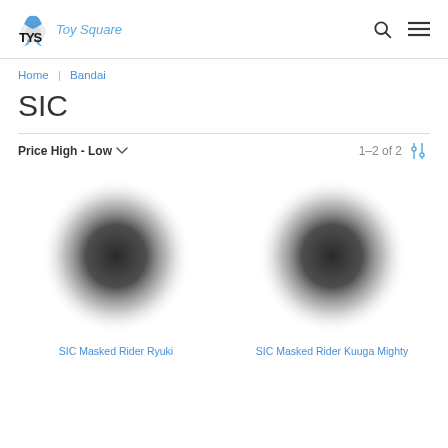TYS Toy Square
Home | Bandai
SIC
Price High - Low   1–2 of 2
[Figure (photo): Blurred product image of SIC Masked Rider Ryuki figure]
SIC Masked Rider Ryuki
[Figure (photo): Blurred product image of SIC Masked Rider Kuuga Mighty figure]
SIC Masked Rider Kuuga Mighty